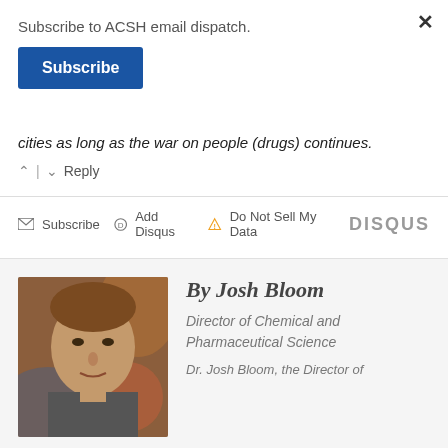Subscribe to ACSH email dispatch.
Subscribe
cities as long as the war on people (drugs) continues.
↑ | ↓  Reply
✉ Subscribe  ⓓ Add Disqus  ⚠ Do Not Sell My Data   DISQUS
[Figure (photo): Headshot photo of Josh Bloom]
By Josh Bloom
Director of Chemical and Pharmaceutical Science
Dr. Josh Bloom, the Director of